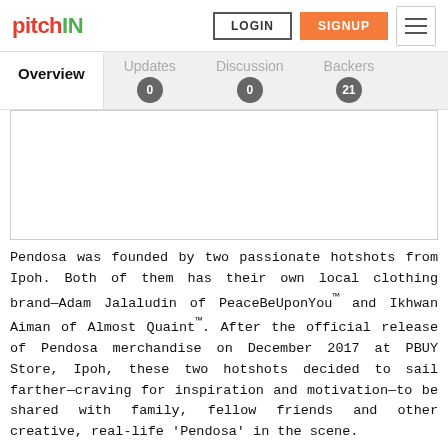pitchIN — LOGIN | SIGNUP
Overview | Updates 0 | Discussion 0 | Backers 21
[Figure (photo): White/blank image placeholder rectangle]
Pendosa was founded by two passionate hotshots from Ipoh. Both of them has their own local clothing brand—Adam Jalaludin of PeaceBeUponYou™ and Ikhwan Aiman of Almost Quaint™. After the official release of Pendosa merchandise on December 2017 at PBUY Store, Ipoh, these two hotshots decided to sail farther—craving for inspiration and motivation—to be shared with family, fellow friends and other creative, real-life 'Pendosa' in the scene.